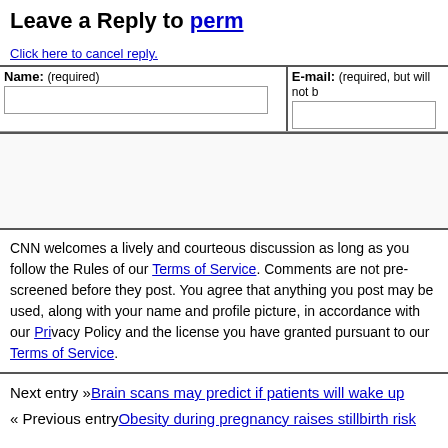Leave a Reply to perm
Click here to cancel reply.
| Name: (required) | E-mail: (required, but will not be published) |
| --- | --- |
|  |
CNN welcomes a lively and courteous discussion as long as you follow the Rules of our Terms of Service. Comments are not pre-screened before they post. You agree that anything you post may be used, along with your name and profile picture, in accordance with our Privacy Policy and the license you have granted pursuant to our Terms of Service.
Next entry »Brain scans may predict if patients will wake up
« Previous entryObesity during pregnancy raises stillbirth risk